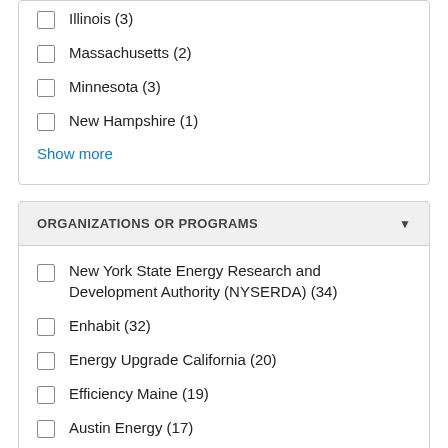Illinois (3)
Massachusetts (2)
Minnesota (3)
New Hampshire (1)
Show more
ORGANIZATIONS OR PROGRAMS
New York State Energy Research and Development Authority (NYSERDA) (34)
Enhabit (32)
Energy Upgrade California (20)
Efficiency Maine (19)
Austin Energy (17)